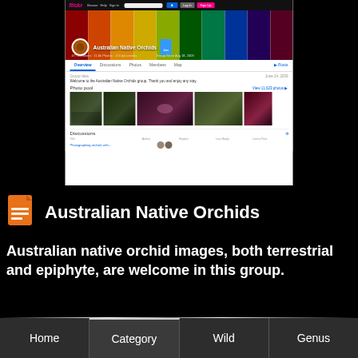[Figure (screenshot): Screenshot of a Flickr group page for 'Australian Native Orchids', showing a colorful book-spine cover photo, group navigation tabs (Overview, Discussions, Photos, Members, Map), a photo pool section with orchid thumbnail images, and a Discussions section header.]
Australian Native Orchids
Australian native orchid images, both terrestrial and epiphyte, are welcome in this group.
Home  Category  Wild  Genus